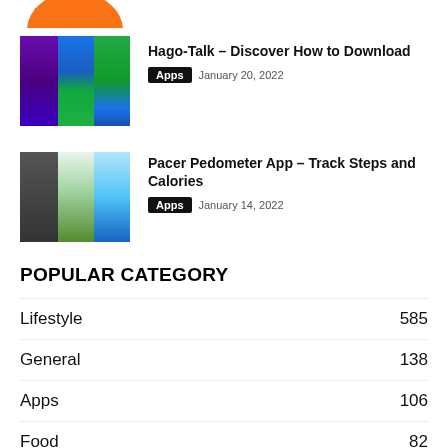[Figure (photo): Partial Etsy app screenshot at top of page]
[Figure (screenshot): Hago-Talk app screenshot showing app interface]
Hago-Talk – Discover How to Download
Apps  January 20, 2022
[Figure (screenshot): Pacer Pedometer app screenshot showing map and tracking]
Pacer Pedometer App – Track Steps and Calories
Apps  January 14, 2022
POPULAR CATEGORY
Lifestyle  585
General  138
Apps  106
Food  82
Technology  67